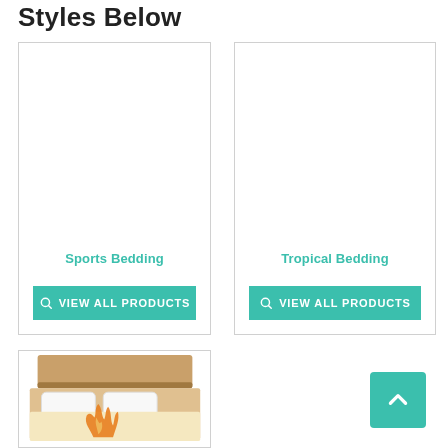Styles Below
[Figure (other): Product card for Sports Bedding with teal VIEW ALL PRODUCTS button]
[Figure (other): Product card for Tropical Bedding with teal VIEW ALL PRODUCTS button]
[Figure (illustration): Bed with orange flame design bedding illustration, partial product card]
[Figure (other): Back to top teal button with upward arrow chevron]